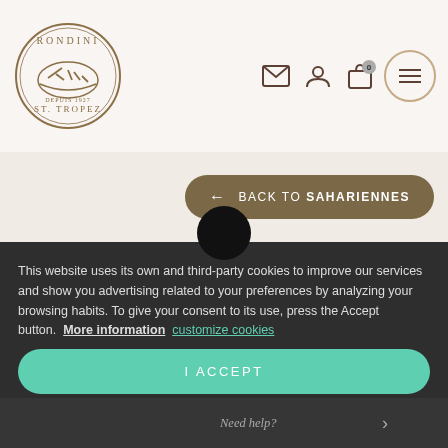[Figure (logo): Rondini St. Tropez circular logo with sandal illustration]
[Figure (infographic): Navigation icons: mail envelope, user account, shopping bag with 0 badge, hamburger menu]
BACK TO SAHARIENNES
This website uses its own and third-party cookies to improve our services and show you advertising related to your preferences by analyzing your browsing habits. To give your consent to its use, press the Accept button.  More information  customize cookies
I ACCEPT